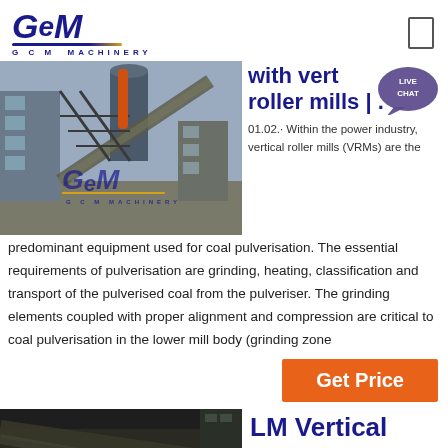GCM MACHINERY
[Figure (photo): Industrial machinery / vertical roller mill equipment at a plant site, with GCM Machinery watermark]
with vertical roller mills | .
01.02.· Within the power industry, vertical roller mills (VRMs) are the predominant equipment used for coal pulverisation. The essential requirements of pulverisation are grinding, heating, classification and transport of the pulverised coal from the pulveriser. The grinding elements coupled with proper alignment and compression are critical to coal pulverisation in the lower mill body (grinding zone
[Figure (infographic): Orange Get Price button]
[Figure (photo): Bottom industrial machinery photo, dark tones]
LM Vertical